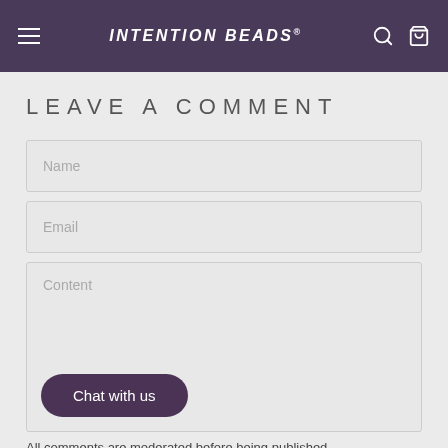INTENTION BEADS
LEAVE A COMMENT
Name
Email
Content
Chat with us
All comments are moderated before being published